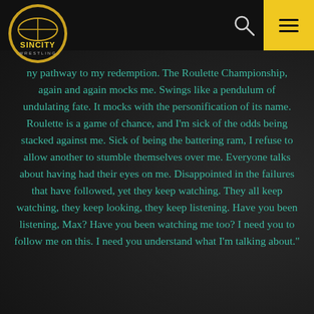[Figure (logo): Sin City Wrestling circular logo with gold coin design and wrestling ring graphic]
ny pathway to my redemption. The Roulette Championship, again and again mocks me. Swings like a pendulum of undulating fate. It mocks with the personification of its name. Roulette is a game of chance, and I'm sick of the odds being stacked against me. Sick of being the battering ram, I refuse to allow another to stumble themselves over me. Everyone talks about having had their eyes on me. Disappointed in the failures that have followed, yet they keep watching. They all keep watching, they keep looking, they keep listening. Have you been listening, Max? Have you been watching me too? I need you to follow me on this. I need you understand what I'm talking about."